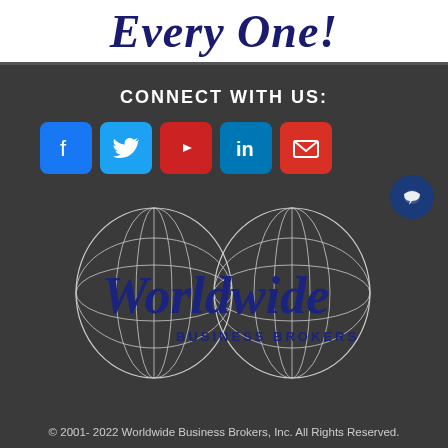Every One!
CONNECT WITH US:
[Figure (infographic): Row of social media icon buttons: Facebook (blue), Twitter (light blue), YouTube (red), LinkedIn (teal/blue), Email (red)]
[Figure (logo): Worldwide Business Brokers logo — two interlocking globe line-art drawings with 'Worldwide' in large dark blue serif font and 'BUSINESS BROKERS' in smaller spaced caps below]
© 2001- 2022 Worldwide Business Brokers, Inc. All Rights Reserved.